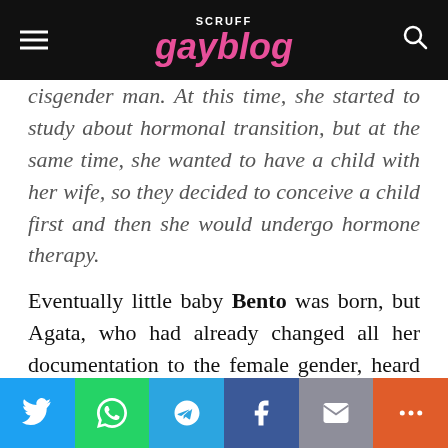SCRUFF gayblog
cisgender man. At this time, she started to study about hormonal transition, but at the same time, she wanted to have a child with her wife, so they decided to conceive a child first and then she would undergo hormone therapy.
Eventually little baby Bento was born, but Agata, who had already changed all her documentation to the female gender, heard that the child “had to have a father before the law” and, even though she participated in the biological conception of the child, she was prevented from registering him.
Social share buttons: Twitter, WhatsApp, Telegram, Facebook, Email, More